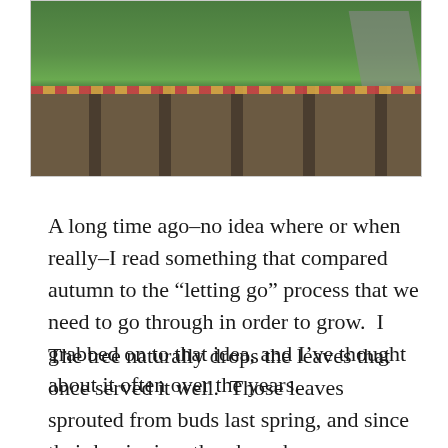[Figure (photo): Outdoor photograph showing wooden compost or planter boxes with red and orange striped tape/decoration along the top, set against a green grassy field and road in the background.]
A long time ago–no idea where or when really–I read something that compared autumn to the “letting go” process that we need to go through in order to grow.  I grabbed on to that idea, and I’ve thought about it often over the years.
The tree naturally drops the leaves that once served it well.  Those leaves sprouted from buds last spring, and since their beginning, they have been a source of nourishment for the whole tree.  They spread their green selves toward the sun and got to work creating